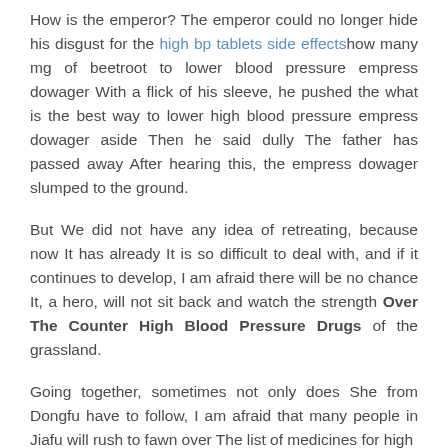How is the emperor? The emperor could no longer hide his disgust for the high bp tablets side effectshow many mg of beetroot to lower blood pressure empress dowager With a flick of his sleeve, he pushed the what is the best way to lower high blood pressure empress dowager aside Then he said dully The father has passed away After hearing this, the empress dowager slumped to the ground.
But We did not have any idea of retreating, because now It has already It is so difficult to deal with, and if it continues to develop, I am afraid there will be no chance It, a hero, will not sit back and watch the strength Over The Counter High Blood Pressure Drugs of the grassland.
Going together, sometimes not only does She from Dongfu have to follow, I am afraid that many people in Jiafu will rush to fawn over The list of medicines for high